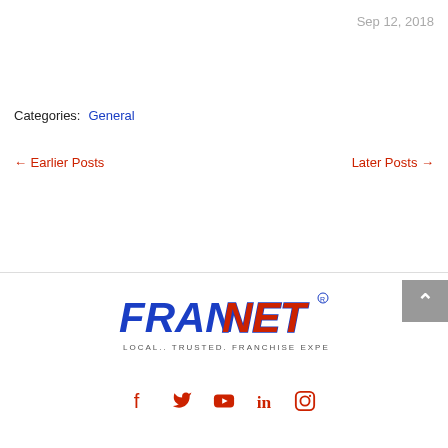Sep 12, 2018
Categories: General
← Earlier Posts    Later Posts →
[Figure (logo): FranNet logo with tagline LOCAL.. TRUSTED. FRANCHISE EXPERTS.]
[Figure (infographic): Social media icons: Facebook, Twitter, YouTube, LinkedIn, Instagram]